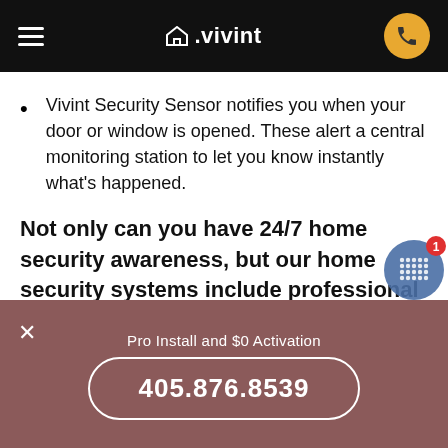☰  △.vivint  [phone button]
Vivint Security Sensor notifies you when your door or window is opened. These alert a central monitoring station to let you know instantly what's happened.
Not only can you have 24/7 home security awareness, but our home security systems include professional monitoring. Our monitoring teams have industry leading response times and can actually confirm an emergency to first responders
Pro Install and $0 Activation
405.876.8539